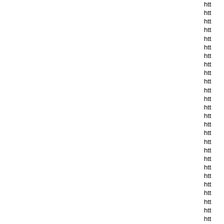htt
htt
htt
htt
htt
htt
htt
htt
htt
htt
htt
htt
htt
htt
htt
htt
htt
htt
htt
htt
htt
htt
htt
htt
htt
htt